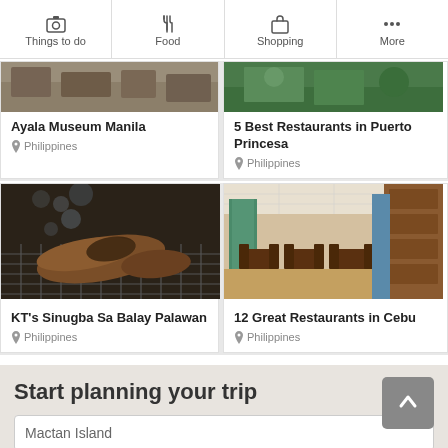Things to do | Food | Shopping | More
Ayala Museum Manila — Philippines
5 Best Restaurants in Puerto Princesa — Philippines
[Figure (photo): Grilled fish on a wire rack with smoke, outdoor barbecue]
KT's Sinugba Sa Balay Palawan — Philippines
[Figure (photo): Interior of a modern restaurant with tables, chairs, and decorative columns]
12 Great Restaurants in Cebu — Philippines
Start planning your trip
Mactan Island